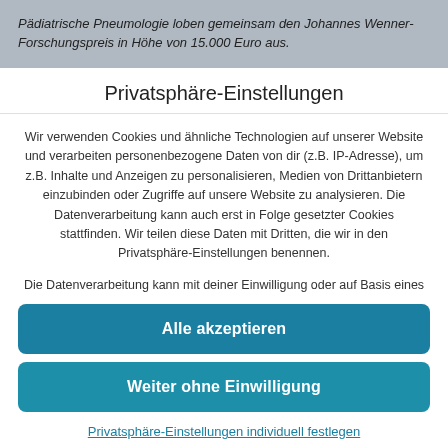Pädiatrische Pneumologie loben gemeinsam den Johannes Wenner-Forschungspreis in Höhe von 15.000 Euro aus.
Privatsphäre-Einstellungen
Wir verwenden Cookies und ähnliche Technologien auf unserer Website und verarbeiten personenbezogene Daten von dir (z.B. IP-Adresse), um z.B. Inhalte und Anzeigen zu personalisieren, Medien von Drittanbietern einzubinden oder Zugriffe auf unsere Website zu analysieren. Die Datenverarbeitung kann auch erst in Folge gesetzter Cookies stattfinden. Wir teilen diese Daten mit Dritten, die wir in den Privatsphäre-Einstellungen benennen.
Die Datenverarbeitung kann mit deiner Einwilligung oder auf Basis eines
Alle akzeptieren
Weiter ohne Einwilligung
Privatsphäre-Einstellungen individuell festlegen
Datenschutzerklärung • Impressum
Cookie Consent mit Real Cookie Banner